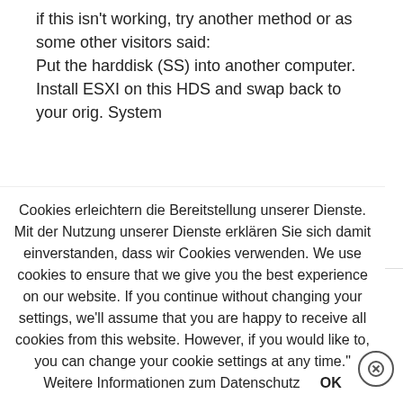if this isn't working, try another method or as some other visitors said:
Put the harddisk (SS) into another computer. Install ESXI on this HDS and swap back to your orig. System
ANTWORTEN
pergola fabio
28.11.2016 um 22:59 Uhr Uhr
Cookies erleichtern die Bereitstellung unserer Dienste. Mit der Nutzung unserer Dienste erklären Sie sich damit einverstanden, dass wir Cookies verwenden. We use cookies to ensure that we give you the best experience on our website. If you continue without changing your settings, we'll assume that you are happy to receive all cookies from this website. However, if you would like to, you can change your cookie settings at any time." Weitere Informationen zum Datenschutz  OK